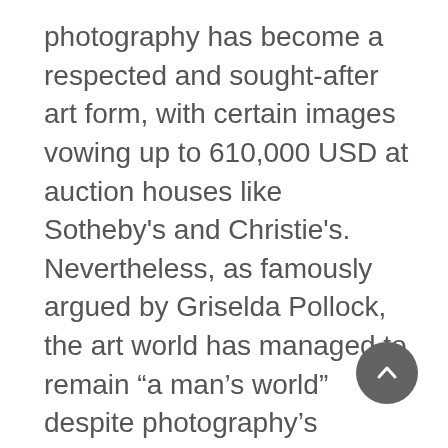photography has become a respected and sought-after art form, with certain images vowing up to 610,000 USD at auction houses like Sotheby's and Christie's. Nevertheless, as famously argued by Griselda Pollock, the art world has managed to remain “a man’s world” despite photography’s supposed feminine nature. Names such as Richard Avedon, Irving Penn, Helmut Newton and David Lindbergh remain the most prominent ones in the domain, leaving little space historically, and currently, for women fashion photographers. Let this therefore be a reminder of a few (of many) well-regarded